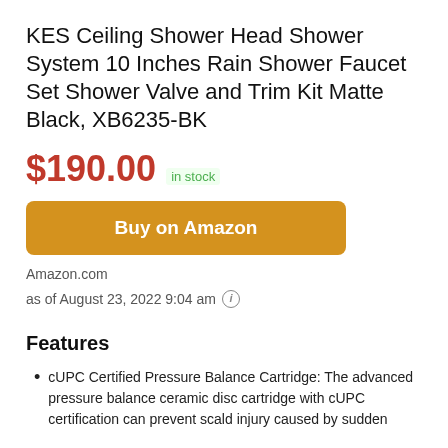KES Ceiling Shower Head Shower System 10 Inches Rain Shower Faucet Set Shower Valve and Trim Kit Matte Black, XB6235-BK
$190.00 in stock
Buy on Amazon
Amazon.com
as of August 23, 2022 9:04 am
Features
cUPC Certified Pressure Balance Cartridge: The advanced pressure balance ceramic disc cartridge with cUPC certification can prevent scald injury caused by sudden